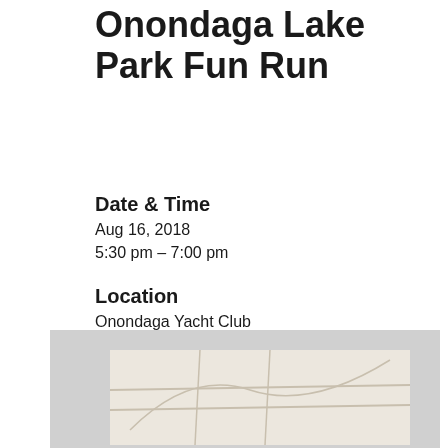Onondaga Lake Park Fun Run
Date & Time
Aug 16, 2018
5:30 pm – 7:00 pm
Location
Onondaga Yacht Club
Categories
No Categories
[Figure (map): Partial map thumbnail at the bottom of the page, showing a light gray background with a beige/cream inner map area and faint road lines.]